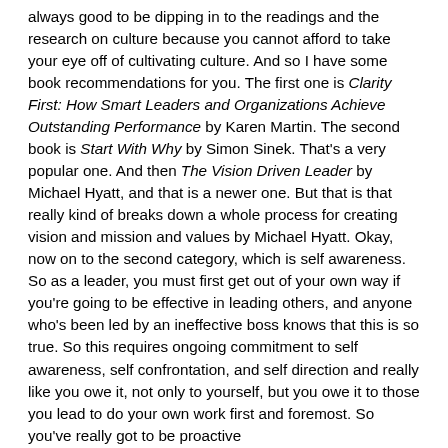always good to be dipping in to the readings and the research on culture because you cannot afford to take your eye off of cultivating culture. And so I have some book recommendations for you. The first one is Clarity First: How Smart Leaders and Organizations Achieve Outstanding Performance by Karen Martin. The second book is Start With Why by Simon Sinek. That's a very popular one. And then The Vision Driven Leader by Michael Hyatt, and that is a newer one. But that is that really kind of breaks down a whole process for creating vision and mission and values by Michael Hyatt. Okay, now on to the second category, which is self awareness. So as a leader, you must first get out of your own way if you're going to be effective in leading others, and anyone who's been led by an ineffective boss knows that this is so true. So this requires ongoing commitment to self awareness, self confrontation, and self direction and really like you owe it, not only to yourself, but you owe it to those you lead to do your own work first and foremost. So you've really got to be proactive